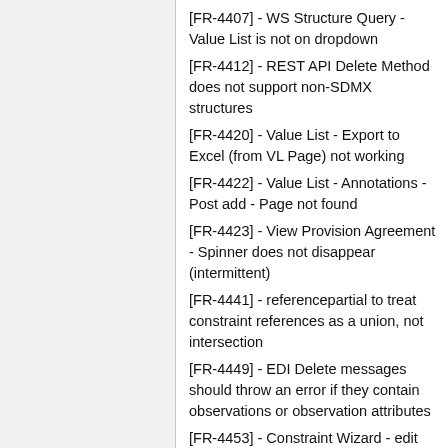[FR-4407] - WS Structure Query - Value List is not on dropdown
[FR-4412] - REST API Delete Method does not support non-SDMX structures
[FR-4420] - Value List - Export to Excel (from VL Page) not working
[FR-4422] - Value List - Annotations - Post add - Page not found
[FR-4423] - View Provision Agreement - Spinner does not disappear (intermittent)
[FR-4441] - referencepartial to treat constraint references as a union, not intersection
[FR-4449] - EDI Delete messages should throw an error if they contain observations or observation attributes
[FR-4453] - Constraint Wizard - edit constraint to add new attachment and remove another results in server side error